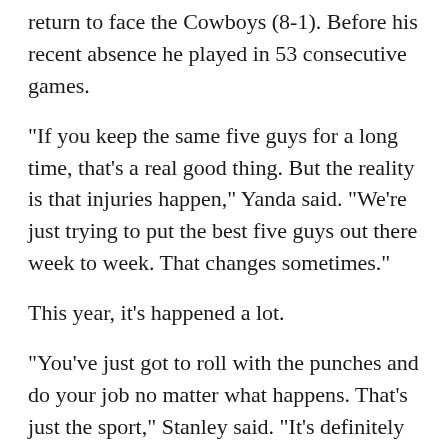return to face the Cowboys (8-1). Before his recent absence he played in 53 consecutive games.
"If you keep the same five guys for a long time, that's a real good thing. But the reality is that injuries happen," Yanda said. "We're just trying to put the best five guys out there week to week. That changes sometimes."
This year, it's happened a lot.
"You've just got to roll with the punches and do your job no matter what happens. That's just the sport," Stanley said. "It's definitely easier to have someone you've been playing with because you build chemistry over a period of time. But people are going to get hurt, and you have to be ready for it."